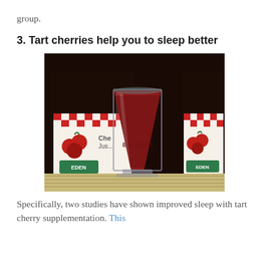group.
3. Tart cherries help you to sleep better
[Figure (photo): A glass of dark red tart cherry juice in front of two bottles of Eden brand cherry juice, placed on a woven mat surface.]
Specifically, two studies have shown improved sleep with tart cherry supplementation. This